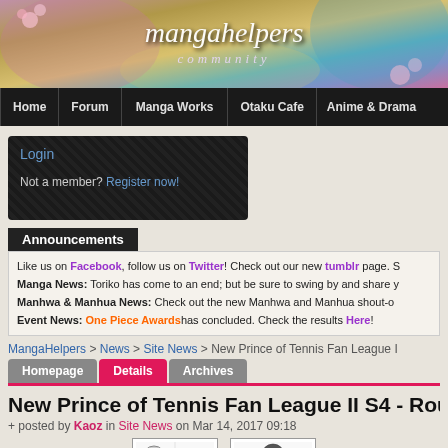[Figure (illustration): MangaHelpers community banner with anime artwork, pink/purple/teal gradient background with flowers]
mangahelpers community
Home | Forum | Manga Works | Otaku Cafe | Anime & Drama
Login
Not a member? Register now!
Announcements
Like us on Facebook, follow us on Twitter! Check out our new tumblr page. Manga News: Toriko has come to an end; but be sure to swing by and share y Manhwa & Manhua News: Check out the new Manhwa and Manhua shout-o Event News: One Piece Awardshas concluded. Check the results Here!
MangaHelpers > News > Site News > New Prince of Tennis Fan League I
Homepage | Details | Archives
New Prince of Tennis Fan League II S4 - Rou
+ posted by Kaoz in Site News on Mar 14, 2017 09:18
[Figure (illustration): Two manga character panels showing tennis players]